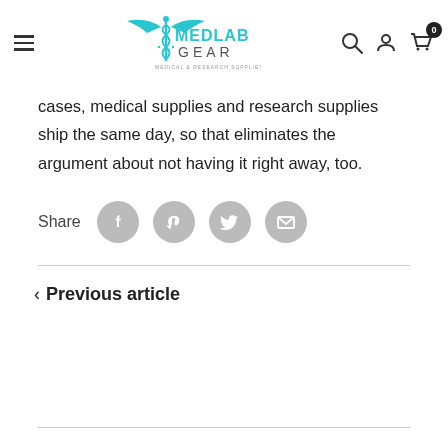MedLab Gear — Medical & Research Supplies
cases, medical supplies and research supplies ship the same day, so that eliminates the argument about not having it right away, too.
[Figure (other): Share row with social media icons: Facebook, Pinterest, Twitter, Email]
< Previous article